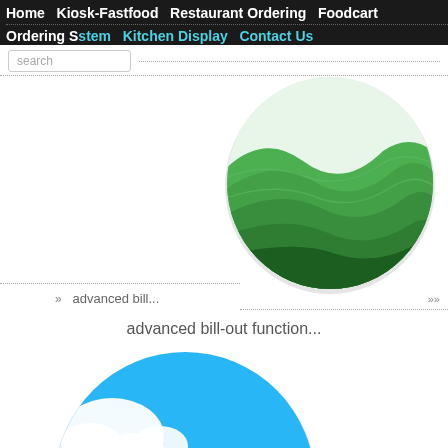Home  Kiosk-Fastfood  Restaurant Ordering  Foodcart
Ordering System  Kitchen Display  Contact Us
search
» advanced bill...  »»
advanced bill-out function...
[Figure (illustration): Circular app icon with green layered hills landscape on white/gray background, partially cropped at top]
[Figure (illustration): Circular app icon with blue sky, white clouds, and green layered hills landscape on white/gray background]
»» advanced function
[Figure (illustration): Circular app icon with blue sky partially cropped at bottom of page]